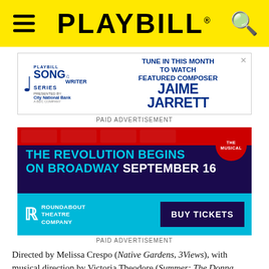PLAYBILL
[Figure (advertisement): Playbill Songwriter Series presented by City National Bank ad — Tune in this month to watch featured composer Jaime Jarrett]
PAID ADVERTISEMENT
[Figure (advertisement): Roundabout Theatre Company ad — The Revolution Begins On Broadway September 16. Buy Tickets.]
PAID ADVERTISEMENT
Directed by Melissa Crespo (Native Gardens, 3Views), with musical direction by Victoria Theodore (Summer: The Donna Summer Musical) and sound design by MP Kuo (MPK Recording and Production), the concert features additional performances by Ari Afsar, Jacqueline B. Arnold, Shoshana Bean, Mackenzie Bell, Heather Christian, Kaleigh